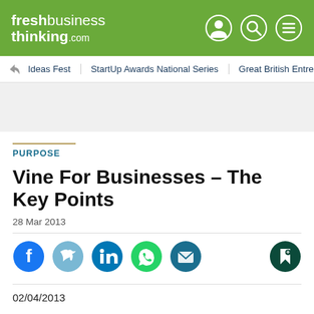freshbusiness thinking.com
Ideas Fest | StartUp Awards National Series | Great British Entrepr
PURPOSE
Vine For Businesses – The Key Points
28 Mar 2013
[Figure (infographic): Social share icons: Facebook, Twitter, LinkedIn, WhatsApp, Email, and a bookmark icon]
02/04/2013